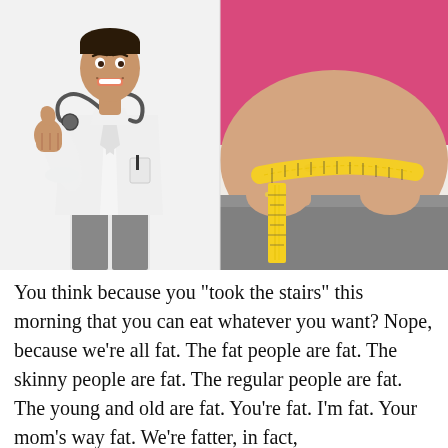[Figure (photo): Left: smiling male doctor in white lab coat giving thumbs up with stethoscope. Right: close-up of overweight person's midsection in pink top and grey pants being measured with a yellow tape measure.]
You think because you "took the stairs" this morning that you can eat whatever you want? Nope, because we're all fat. The fat people are fat. The skinny people are fat. The regular people are fat. The young and old are fat. You're fat. I'm fat. Your mom's way fat. We're fatter, in fact, than ever before.